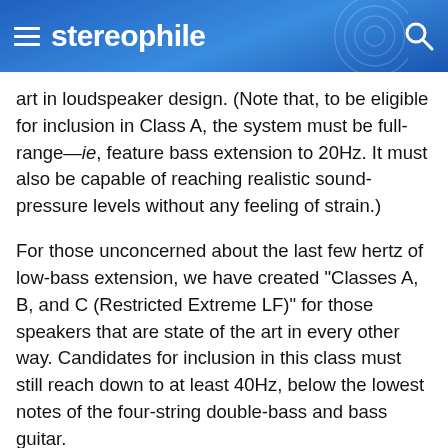stereophile
art in loudspeaker design. (Note that, to be eligible for inclusion in Class A, the system must be full-range—ie, feature bass extension to 20Hz. It must also be capable of reaching realistic sound-pressure levels without any feeling of strain.)
For those unconcerned about the last few hertz of low-bass extension, we have created "Classes A, B, and C (Restricted Extreme LF)" for those speakers that are state of the art in every other way. Candidates for inclusion in this class must still reach down to at least 40Hz, below the lowest notes of the four-string double-bass and bass guitar.
In addition, such has been the recent progress in